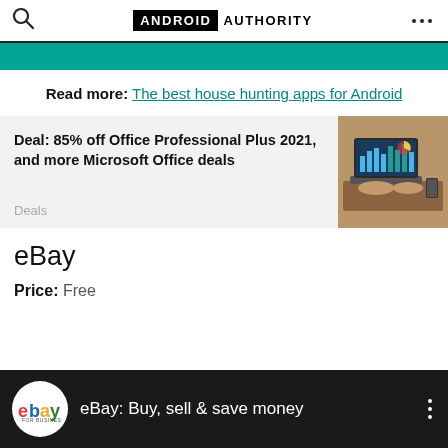ANDROID AUTHORITY
[Figure (screenshot): Green banner strip at top of content area]
Read more: The best house hunting apps for Android
[Figure (screenshot): Deal card: Deal: 85% off Office Professional Plus 2021, and more Microsoft Office deals — Deals — with laptop/charts image]
eBay
Price: Free
[Figure (screenshot): eBay app banner: eBay logo circle, text 'eBay: Buy, sell & save money', three-dot menu on dark background]